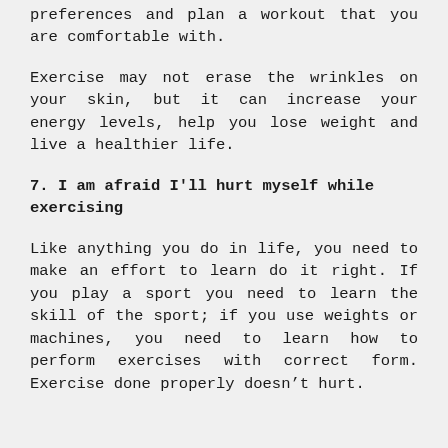preferences and plan a workout that you are comfortable with.
Exercise may not erase the wrinkles on your skin, but it can increase your energy levels, help you lose weight and live a healthier life.
7. I am afraid I'll hurt myself while exercising
Like anything you do in life, you need to make an effort to learn do it right. If you play a sport you need to learn the skill of the sport; if you use weights or machines, you need to learn how to perform exercises with correct form. Exercise done properly doesnâ€™t hurt.